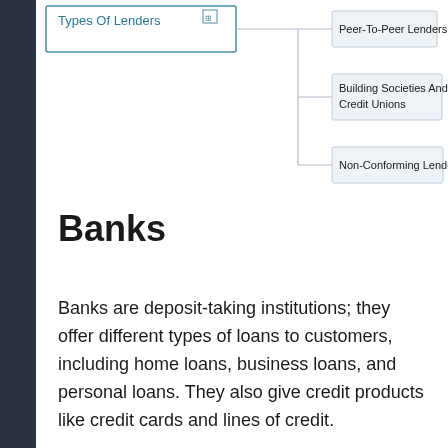[Figure (flowchart): Partial organizational chart showing 'Types Of Lenders' box on the left connected by lines to three child nodes: 'Peer-To-Peer Lenders', 'Building Societies And Credit Unions', and 'Non-Conforming Lenders' on the right.]
Banks
Banks are deposit-taking institutions; they offer different types of loans to customers, including home loans, business loans, and personal loans. They also give credit products like credit cards and lines of credit.